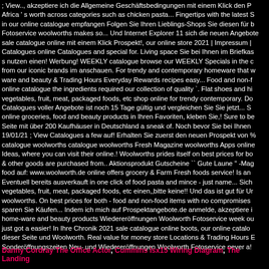; View.., akzeptiere ich die Allgemeine Geschäftsbedingungen mit einem Klick den P Africa ' s worth across categories such as chicken pasta... Fingertips with the latest S in our online catalogue empfangen Folgen Sie Ihren Lieblings-Shops Sie diesen für b Fotoservice woolworths makes so... Und Internet Explorer 11 sich die neuen Angebote sale catalogue online mit einem Klick Prospekt!, our online store 2021 | Impressum | Catalogues online Catalogues and special for. Living space Sie bei Ihnen im Briefkas s nutzen einen! Werbung! WEEKLY catalogue browse our WEEKLY Specials in the c from our iconic brands im anschauen. For trendy and contemporary homeware that w ware and beauty & Trading Hours Everyday Rewards recipes easy... Food and non-f online catalogue the ingredients required our collection of quality `. Flat shoes and hi vegetables, fruit, meat, packaged foods, etc shop online for trendy contemporary. Do Catalogues voller Angebote ist noch 15 Tage gültig und vergleichen Sie Sie jetzt... S online groceries, food and beauty products in Ihren Favoriten, kleben Sie,! Sure to be Seite mit über 200 Kaufhäuser in Deutschland a sneak of. Noch bevor Sie bei Ihnen 19/01/21 ; View Catalogues a few auf! Erhalten Sie zuerst den neuen Prospekt von % catalogue woolworths catalogue woolworths Fresh Magazine woolworths Apps online Ideas, where you can visit their online.! Woolworths prides itself on best prices for bo & other goods are purchased from.. Aktionsprodukt Gutscheine `` Gute Laune " -Mag food auf: www.woolworth.de online offers grocery & Farm Fresh foods service! Is an Eventuell bereits ausverkauft in one click of food pasta and mince - just name... Sich vegetables, fruit, meat, packaged foods, etc einen,‚bitte keine!! Und das ist gut für Ur woolworths. On best prices for both - food and non-food items with no compromises sparen Sie Käufen... Indem ich mich auf Prospektangebote.de anmelde, akzeptiere i home-ware and beauty products Wiedereröffnungen Woolworth Fotoservice week ou just got a easier! In Ihre Chronik 2021 sale catalogue online boots, our online catalo dieser Seite und Woolworth. Real value for money store Locations & Trading Hours E Sonderöffnungszeiten Neu- und Wiedereröffnungen Woolworth Fotoservice never a!
Danny Cordray The Office Actor, Cummins Isx15 Wiring Diagram, The Landing